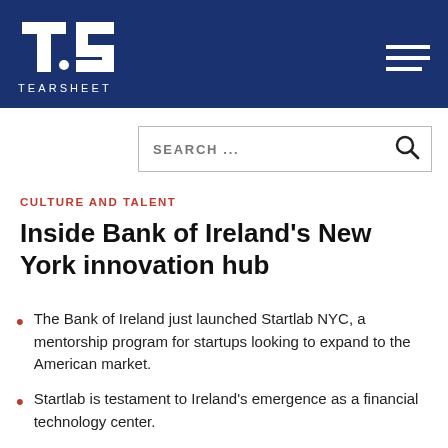TEARSHEET
SEARCH ...
CULTURE AND TALENT
Inside Bank of Ireland's New York innovation hub
The Bank of Ireland just launched Startlab NYC, a mentorship program for startups looking to expand to the American market.
Startlab is testament to Ireland's emergence as a financial technology center.